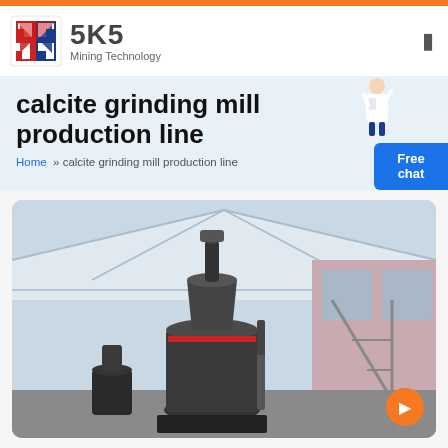SKS Mining Technology
calcite grinding mill production line
Home » calcite grinding mill production line
[Figure (photo): Industrial grinding mill machine installed inside a large warehouse/factory building with steel roof structure. The machine is a tall cylindrical dark grey grinding mill with red accent band. Background shows steel frame structure, windows, and external equipment.]